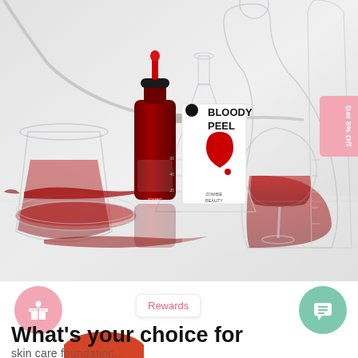[Figure (photo): Product photo of Zombie Beauty 'Bloody Peel' serum bottle (dark red dropper bottle) and white product box with red blood drop graphic, set among laboratory glassware (beakers, flasks, petri dishes) with red liquid substances on a reflective white surface. A pink 'Get 5% Off' badge appears in the top right corner.]
Get 5% Off
Rewards
What's your choice fo...